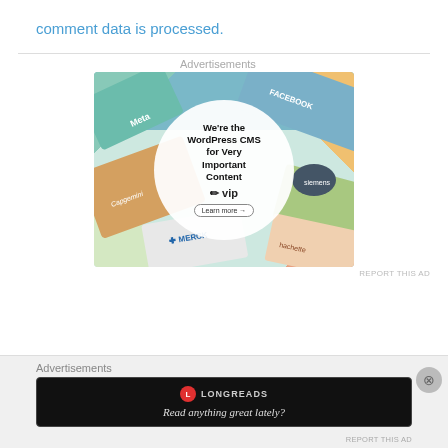comment data is processed.
Advertisements
[Figure (photo): WordPress VIP advertisement showing colorful branded content cards in the background with a white circle overlay containing text: We're the WordPress CMS for Very Important Content, with WordPress VIP logo and a Learn more button.]
REPORT THIS AD
Advertisements
[Figure (photo): Longreads advertisement banner on black background with Longreads logo and text: Read anything great lately?]